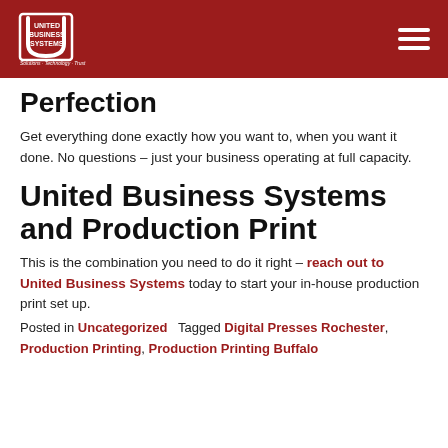United Business Systems — Solutions · Technology · Trust
Perfection
Get everything done exactly how you want to, when you want it done. No questions – just your business operating at full capacity.
United Business Systems and Production Print
This is the combination you need to do it right – reach out to United Business Systems today to start your in-house production print set up.
Posted in Uncategorized   Tagged Digital Presses Rochester, Production Printing, Production Printing Buffalo